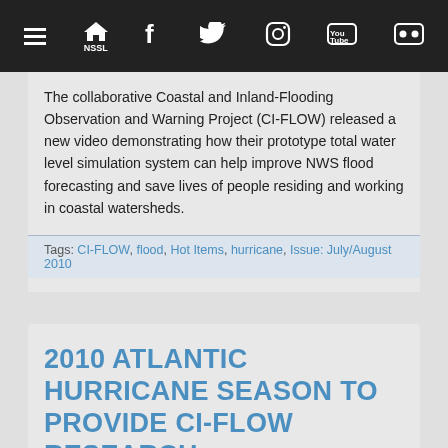Navigation bar with hamburger menu, NSSL home, Facebook, Twitter, Instagram, YouTube, Flickr icons
The collaborative Coastal and Inland-Flooding Observation and Warning Project (CI-FLOW) released a new video demonstrating how their prototype total water level simulation system can help improve NWS flood forecasting and save lives of people residing and working in coastal watersheds.
Tags: CI-FLOW, flood, Hot Items, hurricane, Issue: July/August 2010
2010 ATLANTIC HURRICANE SEASON TO PROVIDE CI-FLOW RESEARCH OPPORTUNITY